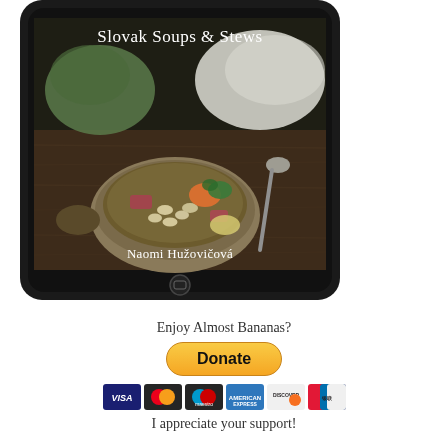[Figure (photo): Tablet device displaying book cover 'Slovak Soups & Stews' by Naomi Hužovičová, showing a ceramic bowl of soup with beans, carrots, ham, and herbs on a dark wooden table with a spoon and cloth napkin]
Enjoy Almost Bananas?
[Figure (other): Yellow PayPal Donate button]
[Figure (other): Payment method icons: Visa, Mastercard, Maestro, American Express, Discover, UnionPay]
I appreciate your support!